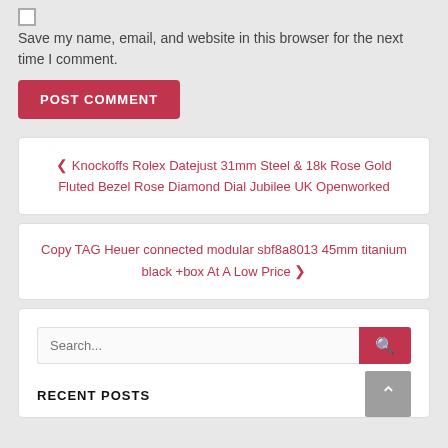Save my name, email, and website in this browser for the next time I comment.
POST COMMENT
❮ Knockoffs Rolex Datejust 31mm Steel & 18k Rose Gold Fluted Bezel Rose Diamond Dial Jubilee UK Openworked
Copy TAG Heuer connected modular sbf8a8013 45mm titanium black +box At A Low Price ❯
Search...
RECENT POSTS